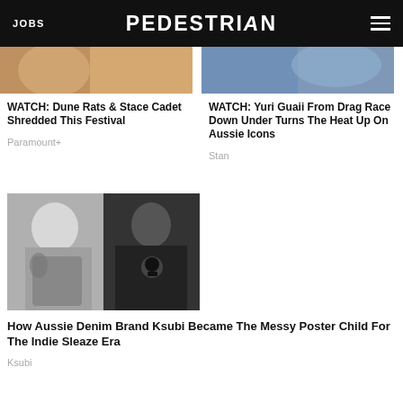JOBS | PEDESTRIAN | [menu]
[Figure (photo): Partial top image of Dune Rats & Stace Cadet festival performance (cropped, partially visible)]
WATCH: Dune Rats & Stace Cadet Shredded This Festival
Paramount+
[Figure (photo): Partial top image of Yuri Guaii from Drag Race Down Under (cropped, partially visible)]
WATCH: Yuri Guaii From Drag Race Down Under Turns The Heat Up On Aussie Icons
Stan
[Figure (photo): Black and white composite photo: tattooed woman on left, man in skull-logo jacket holding item on right — Ksubi brand imagery]
How Aussie Denim Brand Ksubi Became The Messy Poster Child For The Indie Sleaze Era
Ksubi